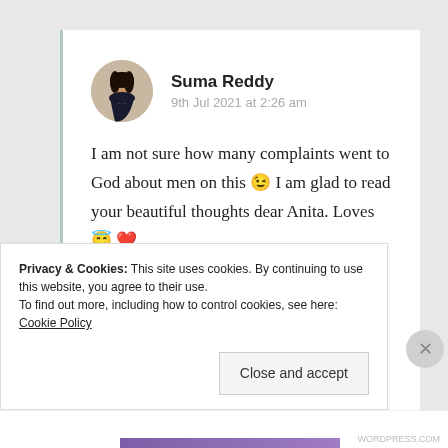[Figure (photo): Circular avatar photo of a young woman with long dark hair against a light background]
Suma Reddy
9th Jul 2021 at 2:26 am
I am not sure how many complaints went to God about men on this 😉 I am glad to read your beautiful thoughts dear Anita. Loves 😇 ❤
Privacy & Cookies: This site uses cookies. By continuing to use this website, you agree to their use.
To find out more, including how to control cookies, see here: Cookie Policy
Close and accept